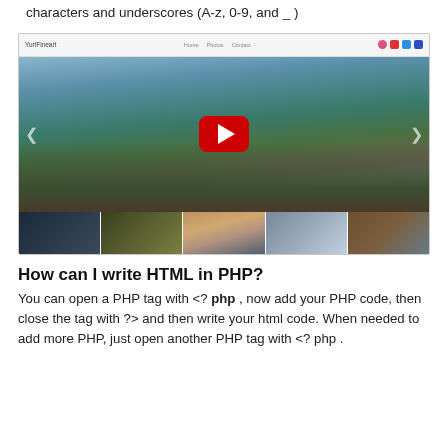A variable name can only contain alpha numeric characters and underscores (A-z, 0-9, and _ )
[Figure (screenshot): Screenshot of a photography website (YuriFineart) showing a large landscape/coastal photo with a YouTube play button overlay, navigation arrows, and a row of five thumbnail images below.]
How can I write HTML in PHP?
You can open a PHP tag with <? php , now add your PHP code, then close the tag with ?> and then write your html code. When needed to add more PHP, just open another PHP tag with <? php .